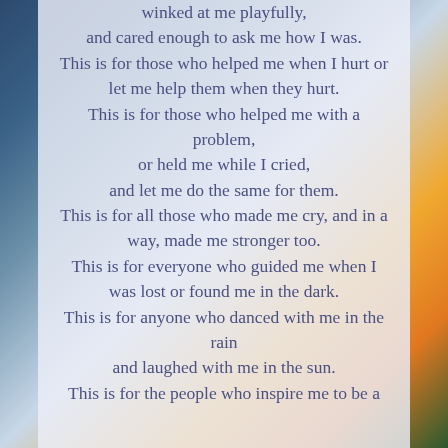winked at me playfully,
and cared enough to ask me how I was.

This is for those who helped me when I hurt or let me help them when they hurt.
This is for those who helped me with a problem,
or held me while I cried,
and let me do the same for them.
This is for all those who made me cry, and in a way, made me stronger too.
This is for everyone who guided me when I was lost or found me in the dark.
This is for anyone who danced with me in the rain
and laughed with me in the sun.

This is for the people who inspire me to be a